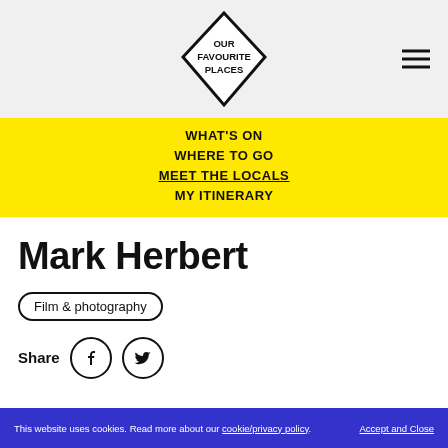OUR FAVOURITE PLACES
WHAT'S ON
WHERE TO GO
MEET THE LOCALS
MY ITINERARY
Mark Herbert
Film & photography
Share
This website uses cookies. Read more about our cookie/privacy policy. Accept and Close